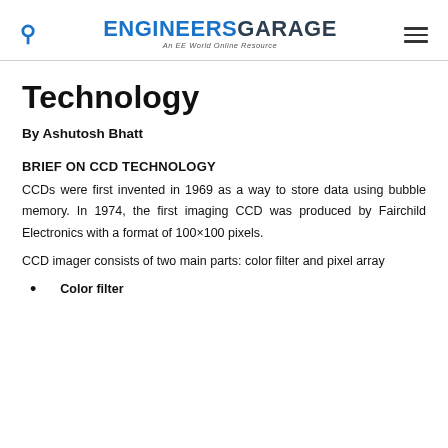ENGINEERS GARAGE — An EE World Online Resource
Technology
By Ashutosh Bhatt
BRIEF ON CCD TECHNOLOGY
CCDs were first invented in 1969 as a way to store data using bubble memory. In 1974, the first imaging CCD was produced by Fairchild Electronics with a format of 100×100 pixels.
CCD imager consists of two main parts: color filter and pixel array
Color filter